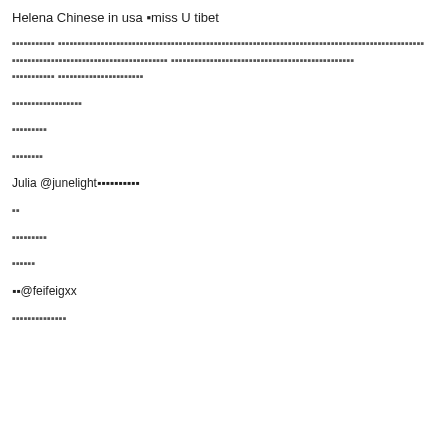Helena Chinese in usa ▪miss U tibet
▪▪▪▪▪▪▪▪▪▪▪ ▪▪▪▪▪▪▪▪▪▪▪▪▪▪▪▪▪▪▪▪▪▪▪▪▪▪▪▪▪▪▪▪▪▪▪▪▪▪▪▪▪▪▪▪▪▪▪▪▪▪▪▪▪▪▪▪▪▪▪▪▪▪▪▪▪▪▪▪▪▪▪▪▪▪▪▪▪▪▪▪▪▪▪▪▪▪▪▪▪▪▪▪▪▪ ▪▪▪▪▪▪▪▪▪▪▪▪▪▪▪▪▪▪▪▪▪▪▪▪▪▪▪▪▪▪▪▪▪▪▪▪▪▪▪▪▪▪▪▪▪▪▪
▪▪▪▪▪▪▪▪▪▪▪▪▪▪▪▪▪▪
▪▪▪▪▪▪▪▪▪
▪▪▪▪▪▪▪▪
Julia @junelight▪▪▪▪▪▪▪▪▪▪
▪▪
▪▪▪▪▪▪▪▪▪
▪▪▪▪▪▪
▪▪@feifeigxx
▪▪▪▪▪▪▪▪▪▪▪▪▪▪